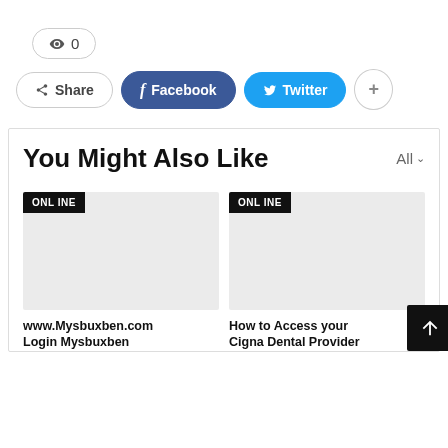[Figure (screenshot): View count pill showing eye icon and count of 0]
[Figure (screenshot): Social sharing buttons: Share, Facebook, Twitter, plus button]
You Might Also Like
[Figure (screenshot): Card with gray placeholder image and ONLINE badge, title: www.Mysbuxben.com Login Mysbuxben...]
[Figure (screenshot): Card with gray placeholder image and ONLINE badge, title: How to Access your Cigna Dental Provider...]